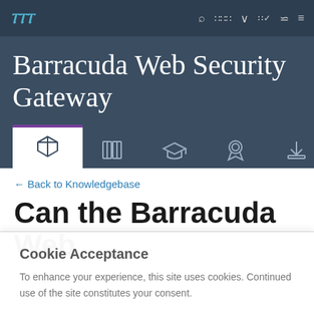Barracuda Web Security Gateway — top navigation bar
Barracuda Web Security Gateway
← Back to Knowledgebase
Can the Barracuda Web
Cookie Acceptance
To enhance your experience, this site uses cookies. Continued use of the site constitutes your consent.